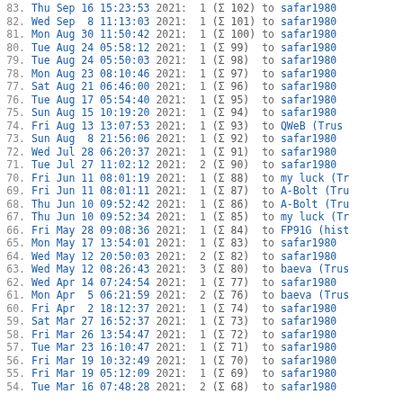83. Thu Sep 16 15:23:53 2021: 1 (Σ 102) to safar1980
82. Wed Sep  8 11:13:03 2021: 1 (Σ 101) to safar1980
81. Mon Aug 30 11:50:42 2021: 1 (Σ 100) to safar1980
80. Tue Aug 24 05:58:12 2021: 1 (Σ 99) to safar1980
79. Tue Aug 24 05:50:03 2021: 1 (Σ 98) to safar1980
78. Mon Aug 23 08:10:46 2021: 1 (Σ 97) to safar1980
77. Sat Aug 21 06:46:00 2021: 1 (Σ 96) to safar1980
76. Tue Aug 17 05:54:40 2021: 1 (Σ 95) to safar1980
75. Sun Aug 15 10:19:20 2021: 1 (Σ 94) to safar1980
74. Fri Aug 13 13:07:53 2021: 1 (Σ 93) to QWeB (Trust
73. Sun Aug  8 21:56:06 2021: 1 (Σ 92) to safar1980
72. Wed Jul 28 06:20:37 2021: 1 (Σ 91) to safar1980
71. Tue Jul 27 11:02:12 2021: 2 (Σ 90) to safar1980
70. Fri Jun 11 08:01:19 2021: 1 (Σ 88) to my luck (Tr
69. Fri Jun 11 08:01:11 2021: 1 (Σ 87) to A-Bolt (Tru
68. Thu Jun 10 09:52:42 2021: 1 (Σ 86) to A-Bolt (Tru
67. Thu Jun 10 09:52:34 2021: 1 (Σ 85) to my luck (Tr
66. Fri May 28 09:08:36 2021: 1 (Σ 84) to FP91G (hist
65. Mon May 17 13:54:01 2021: 1 (Σ 83) to safar1980
64. Wed May 12 20:50:03 2021: 2 (Σ 82) to safar1980
63. Wed May 12 08:26:43 2021: 3 (Σ 80) to baeva (Trus
62. Wed Apr 14 07:24:54 2021: 1 (Σ 77) to safar1980
61. Mon Apr  5 06:21:59 2021: 2 (Σ 76) to baeva (Trus
60. Fri Apr  2 18:12:37 2021: 1 (Σ 74) to safar1980
59. Sat Mar 27 16:52:37 2021: 1 (Σ 73) to safar1980
58. Fri Mar 26 13:54:47 2021: 1 (Σ 72) to safar1980
57. Tue Mar 23 16:10:47 2021: 1 (Σ 71) to safar1980
56. Fri Mar 19 10:32:49 2021: 1 (Σ 70) to safar1980
55. Fri Mar 19 05:12:09 2021: 1 (Σ 69) to safar1980
54. Tue Mar 16 07:48:28 2021: 2 (Σ 68) to safar1980